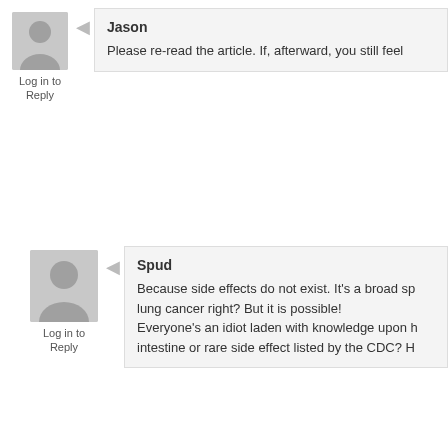Jason
Please re-read the article. If, afterward, you still feel
Log in to Reply
Spud
Because side effects do not exist. It's a broad sp lung cancer right? But it is possible!
Everyone's an idiot laden with knowledge upon h intestine or rare side effect listed by the CDC? H
Log in to Reply
Nick Sanders
Keyword: Rare.
Log in to Reply
Jason
Tisk, Tisk.... You didn't follow the instruction
Log in to Reply